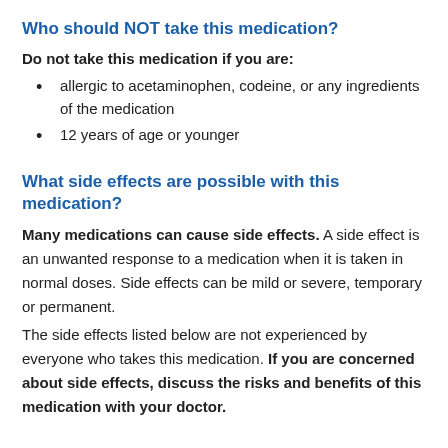Who should NOT take this medication?
Do not take this medication if you are:
allergic to acetaminophen, codeine, or any ingredients of the medication
12 years of age or younger
What side effects are possible with this medication?
Many medications can cause side effects. A side effect is an unwanted response to a medication when it is taken in normal doses. Side effects can be mild or severe, temporary or permanent.
The side effects listed below are not experienced by everyone who takes this medication. If you are concerned about side effects, discuss the risks and benefits of this medication with your doctor.